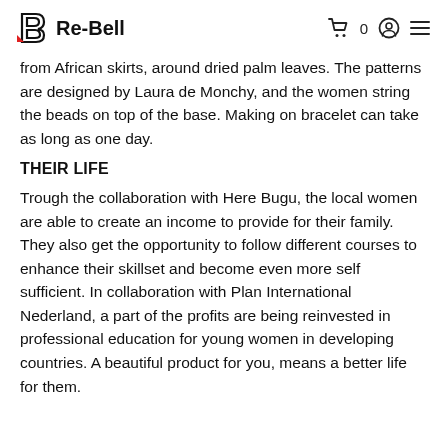Re-Bell
from African skirts, around dried palm leaves. The patterns are designed by Laura de Monchy, and the women string the beads on top of the base. Making on bracelet can take as long as one day.
THEIR LIFE
Trough the collaboration with Here Bugu, the local women are able to create an income to provide for their family. They also get the opportunity to follow different courses to enhance their skillset and become even more self sufficient. In collaboration with Plan International Nederland, a part of the profits are being reinvested in professional education for young women in developing countries. A beautiful product for you, means a better life for them.